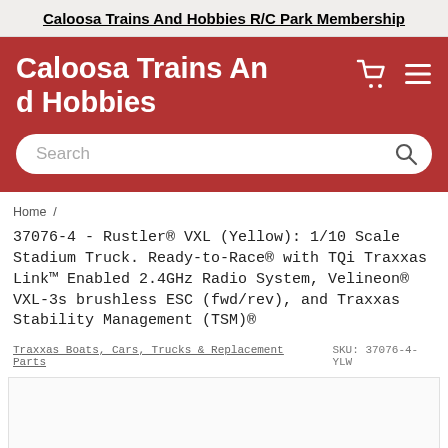Caloosa Trains And Hobbies R/C Park Membership
Caloosa Trains And Hobbies
Search
Home /
37076-4 - Rustler® VXL (Yellow): 1/10 Scale Stadium Truck. Ready-to-Race® with TQi Traxxas Link™ Enabled 2.4GHz Radio System, Velineon® VXL-3s brushless ESC (fwd/rev), and Traxxas Stability Management (TSM)®
Traxxas Boats, Cars, Trucks & Replacement Parts   SKU: 37076-4-YLW